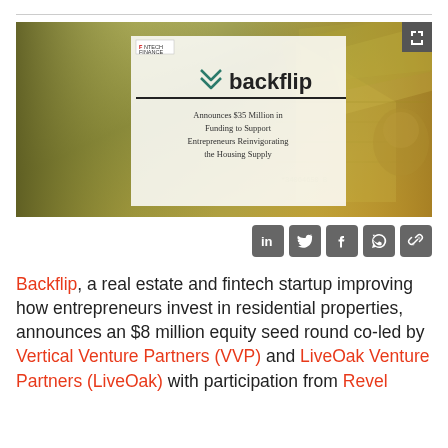[Figure (photo): Hero image showing Backflip company logo announcement over $100 dollar bills shaped into a house, with text 'Announces $35 Million in Funding to Support Entrepreneurs Reinvigorating the Housing Supply']
[Figure (infographic): Social media share icons: LinkedIn, Twitter, Facebook, WhatsApp, and a link/share icon]
Backflip, a real estate and fintech startup improving how entrepreneurs invest in residential properties, announces an $8 million equity seed round co-led by Vertical Venture Partners (VVP) and LiveOak Venture Partners (LiveOak) with participation from Revel